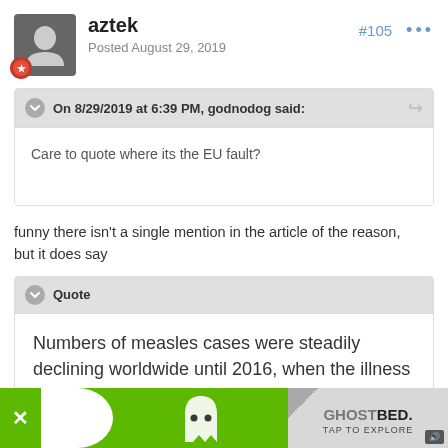aztek
Posted August 29, 2019
#105
On 8/29/2019 at 6:39 PM, godnodog said:
Care to quote where its the EU fault?
funny there isn't a single mention in the article of the reason,    but it does say
Quote
Numbers of measles cases were steadily declining worldwide until 2016, when the illness began a resurgence.
[Figure (other): Advertisement banner with GhostBed logo, green background, ghost icon with dots for eyes, and TAP TO EXPLORE text]